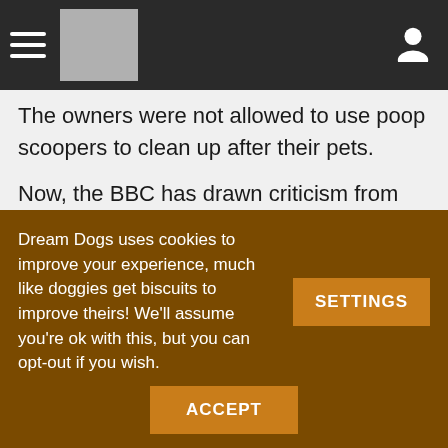[Navigation header with hamburger menu, logo, and user icon]
The owners were not allowed to use poop scoopers to clean up after their pets.
Now, the BBC has drawn criticism from several quarters. Dorothy Kelk, speaking on behalf Central Lancashire Friends of the Earth, complained:
[Figure (other): Large decorative closing quotation mark in grey]
Dream Dogs uses cookies to improve your experience, much like doggies get biscuits to improve theirs! We'll assume you're ok with this, but you can opt-out if you wish.
SETTINGS
ACCEPT